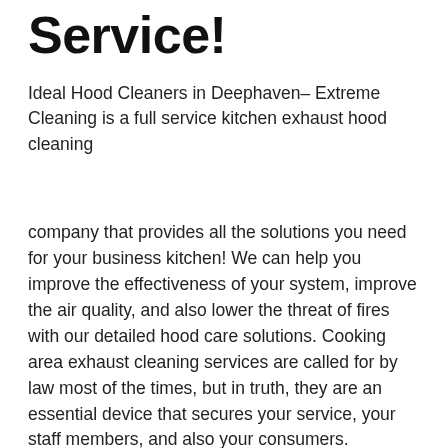Service!
Ideal Hood Cleaners in Deephaven– Extreme Cleaning is a full service kitchen exhaust hood cleaning
company that provides all the solutions you need for your business kitchen! We can help you improve the effectiveness of your system, improve the air quality, and also lower the threat of fires with our detailed hood care solutions. Cooking area exhaust cleaning services are called for by law most of the times, but in truth, they are an essential device that secures your service, your staff members, and also your consumers.
Our groups utilize state-of-the-art tools and also the current products to offer you the most efficient clean feasible. When we're completed, your kitchen hoods and also exhaust system will be without oil, smoke, soot, dust, food particles,